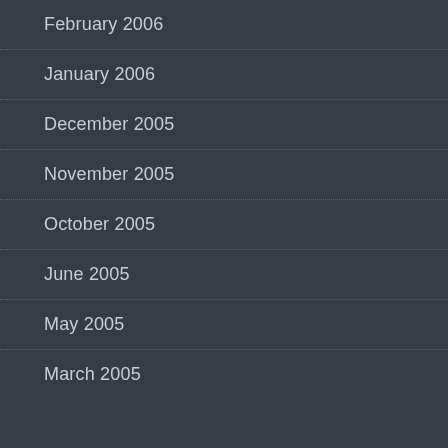February 2006
January 2006
December 2005
November 2005
October 2005
June 2005
May 2005
March 2005